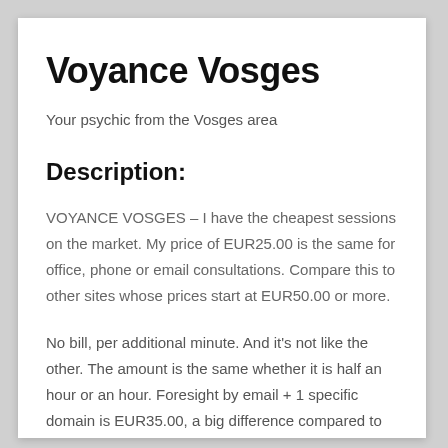Voyance Vosges
Your psychic from the Vosges area
Description:
VOYANCE VOSGES – I have the cheapest sessions on the market. My price of EUR25.00 is the same for office, phone or email consultations. Compare this to other sites whose prices start at EUR50.00 or more.
No bill, per additional minute. And it's not like the other. The amount is the same whether it is half an hour or an hour. Foresight by email + 1 specific domain is EUR35.00, a big difference compared to competitors who make a domain from EUR30 or more. The